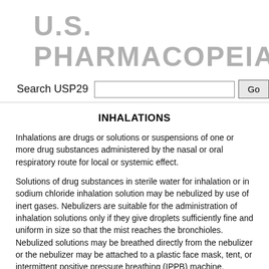U.S. PHARMACOPEIA
Search USP29
INHALATIONS
Inhalations are drugs or solutions or suspensions of one or more drug substances administered by the nasal or oral respiratory route for local or systemic effect.
Solutions of drug substances in sterile water for inhalation or in sodium chloride inhalation solution may be nebulized by use of inert gases. Nebulizers are suitable for the administration of inhalation solutions only if they give droplets sufficiently fine and uniform in size so that the mist reaches the bronchioles. Nebulized solutions may be breathed directly from the nebulizer or the nebulizer may be attached to a plastic face mask, tent, or intermittent positive pressure breathing (IPPB) machine.
Another group of products, also known as metered-dose inhalers (MDIs) are propellant-driven drug suspensions or solutions in liquified gas propellant with or without a cosolvent and are intended for delivering...